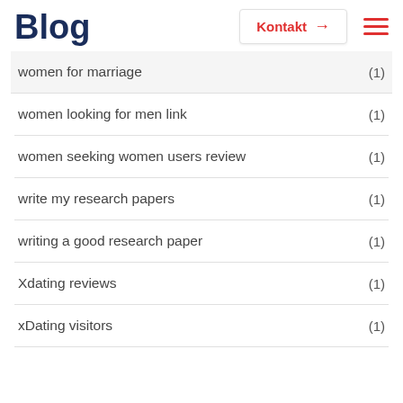Blog
Kontakt →
women for marriage (1)
women looking for men link (1)
women seeking women users review (1)
write my research papers (1)
writing a good research paper (1)
Xdating reviews (1)
xDating visitors (1)